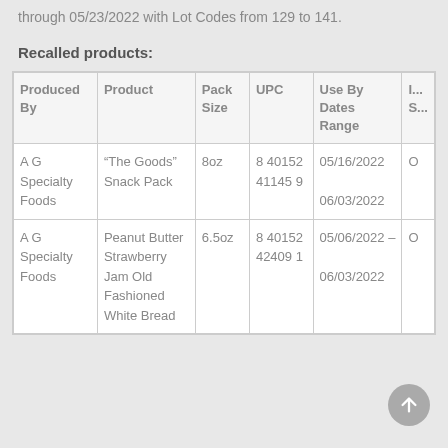through 05/23/2022 with Lot Codes from 129 to 141.
Recalled products:
| Produced By | Product | Pack Size | UPC | Use By Dates Range | I... S... |
| --- | --- | --- | --- | --- | --- |
| A G Specialty Foods | “The Goods” Snack Pack | 8oz | 8 40152 41145 9 | 05/16/2022 06/03/2022 | O |
| A G Specialty Foods | Peanut Butter Strawberry Jam Old Fashioned White Bread | 6.5oz | 8 40152 42409 1 | 05/06/2022 – 06/03/2022 | O |